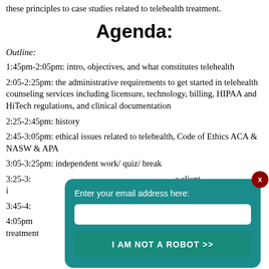these principles to case studies related to telehealth treatment.
Agenda:
Outline:
1:45pm-2:05pm: intro, objectives, and what constitutes telehealth
2:05-2:25pm: the administrative requirements to get started in telehealth counseling services including licensure, technology, billing, HIPAA and HiTech regulations, and clinical documentation
2:25-2:45pm: history
2:45-3:05pm: ethical issues related to telehealth, Code of Ethics ACA & NASW & APA
3:05-3:25pm: independent work/ quiz/ break
3:25-3:... a client i... to the telehealth...
3:45-4:... ical work to...
4:05pm... health treatment
[Figure (infographic): Email subscription overlay popup with teal background, text 'Enter your email address here:', a white input field, and a 'I AM NOT A ROBOT >>' button. A dark red close button with 'x' is in the top right corner.]